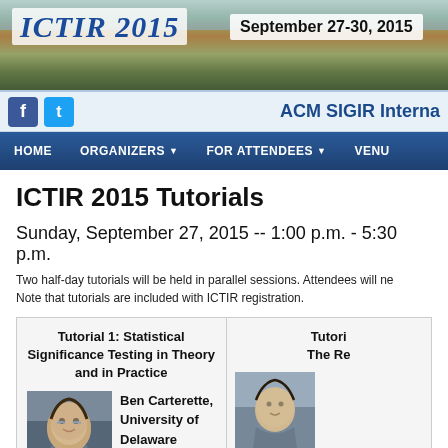ICTIR 2015  September 27-30, 2015
ACM SIGIR Interna
HOME  ORGANIZERS  FOR ATTENDEES  VENU
ICTIR 2015 Tutorials
Sunday, September 27, 2015 -- 1:00 p.m. - 5:30 p.m.
Two half-day tutorials will be held in parallel sessions. Attendees will ne Note that tutorials are included with ICTIR registration.
Tutorial 1: Statistical Significance Testing in Theory and in Practice
Ben Carterette, University of Delaware
[Figure (photo): Headshot of Ben Carterette]
Tutorial The Re
[Figure (photo): Headshot of second presenter]